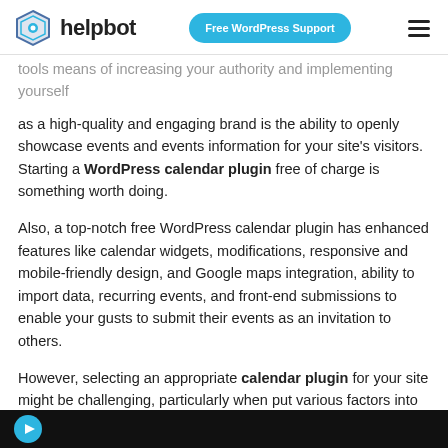helpbot | Free WordPress Support
tools means of increasing your authority and implementing yourself as a high-quality and engaging brand is the ability to openly showcase events and events information for your site's visitors. Starting a WordPress calendar plugin free of charge is something worth doing.
Also, a top-notch free WordPress calendar plugin has enhanced features like calendar widgets, modifications, responsive and mobile-friendly design, and Google maps integration, ability to import data, recurring events, and front-end submissions to enable your gusts to submit their events as an invitation to others.
However, selecting an appropriate calendar plugin for your site might be challenging, particularly when put various factors into consideration, s
such as the effect of the plugin on your website security and speed.
[Figure (screenshot): Dark bottom bar with a blue circular icon, appears to be bottom of a video or image thumbnail]